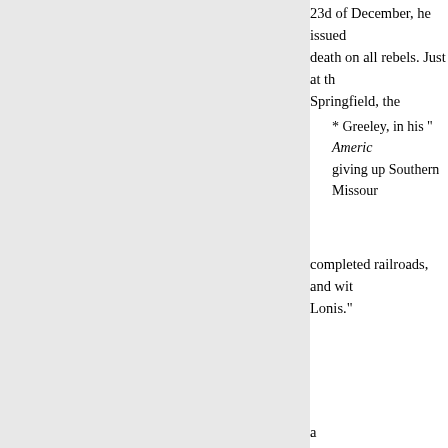23d of December, he issued death on all rebels. Just at th Springfield, the
* Greeley, in his “ Americ giving up Southern Missour
completed railroads, and wit Lonis.”
a
CH. VI.]
GENERAL GRANT AND Missouri at this date to the a Union cause, declared marti plan was to approach from t and destroy the on its soil du connection may be noted cu break up the Halleck’s acti